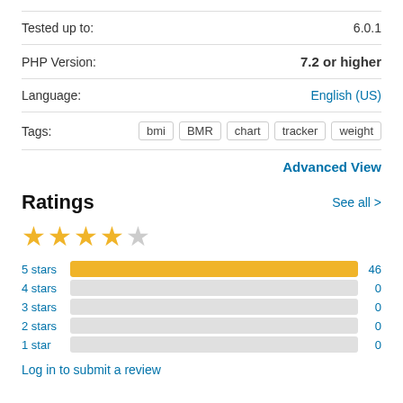| Field | Value |
| --- | --- |
| Tested up to: | 6.0.1 |
| PHP Version: | 7.2 or higher |
| Language: | English (US) |
| Tags: | bmi  BMR  chart  tracker  weight |
Advanced View
Ratings
See all >
[Figure (other): 4.5 star rating shown with 4 full yellow stars]
[Figure (bar-chart): Ratings breakdown]
Log in to submit a review